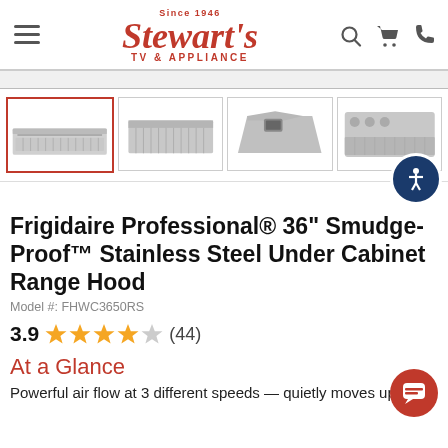Since 1946 Stewart's TV & APPLIANCE
[Figure (screenshot): Four product thumbnail images of a stainless steel under cabinet range hood shown from different angles. The first thumbnail (leftmost) is selected with a red border.]
Frigidaire Professional® 36" Smudge-Proof™ Stainless Steel Under Cabinet Range Hood
Model #: FHWC3650RS
3.9 ★★★★☆ (44)
At a Glance
Powerful air flow at 3 different speeds — quietly moves up